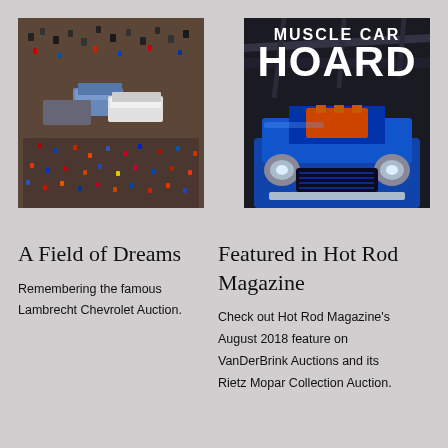[Figure (photo): Aerial view of a large crowd surrounding classic cars at an outdoor auction event (Lambrecht Chevrolet Auction)]
[Figure (photo): Magazine cover of 'Muscle Car Hoard' featuring a blue classic muscle car with its hood open, inside a garage]
A Field of Dreams
Remembering the famous Lambrecht Chevrolet Auction.
Featured in Hot Rod Magazine
Check out Hot Rod Magazine's August 2018 feature on VanDerBrink Auctions and its Rietz Mopar Collection Auction.